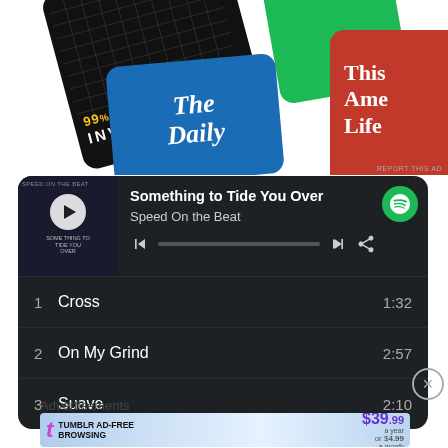[Figure (screenshot): Podcast app showing multiple podcast covers: 99% Invisible (black card with grid), a green card, The Daily (blue card), and This American Life (red card partially visible)]
REPORT THIS AD
[Figure (screenshot): Spotify web player showing album 'Something to Tide You Over' by Speed On the Beat with track listing: 1. Cross 1:32, 2. On My Grind 2:57, 3. Suave 2:10]
Something to Tide You Over
Speed On the Beat
1  Cross  1:32
2  On My Grind  2:57
3  Suave  2:10
Advertisements
[Figure (screenshot): Tumblr ad-free browsing advertisement banner showing $39.99 a year or $4.99 a month with Tumblr logo]